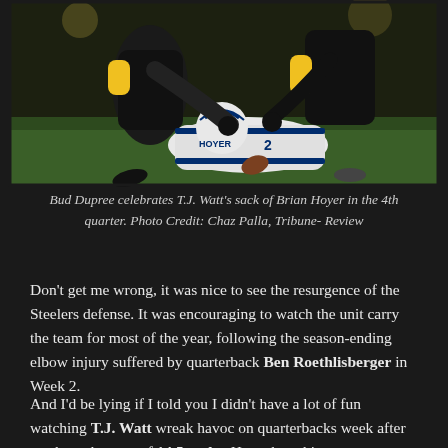[Figure (photo): Football action photo showing Pittsburgh Steelers players in black and yellow jerseys sacking Indianapolis Colts quarterback Brian Hoyer (#2) in white jersey, on grass field. Bud Dupree celebrating T.J. Watt's sack.]
Bud Dupree celebrates T.J. Watt's sack of Brian Hoyer in the 4th quarter. Photo Credit: Chaz Palla, Tribune- Review
Don't get me wrong, it was nice to see the resurgence of the Steelers defense. It was encouraging to watch the unit carry the team for most of the year, following the season-ending elbow injury suffered by quarterback Ben Roethlisberger in Week 2.
And I'd be lying if I told you I didn't have a lot of fun watching T.J. Watt wreak havoc on quarterbacks week after week, to the tune of 14.5 sacks. How about his